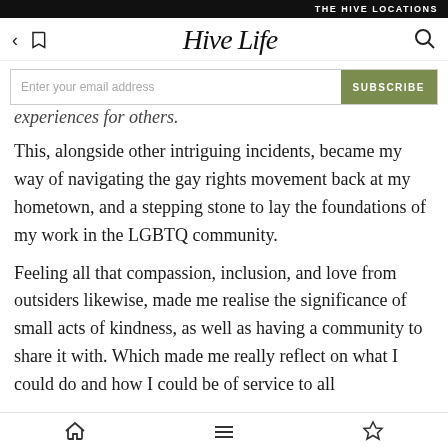THE HIVE LOCATIONS
[Figure (logo): Hive Life script logo with back arrow, bookmark, and search icons in navigation bar]
Enter your email address
experiences for others.
This, alongside other intriguing incidents, became my way of navigating the gay rights movement back at my hometown, and a stepping stone to lay the foundations of my work in the LGBTQ community.
Feeling all that compassion, inclusion, and love from outsiders likewise, made me realise the significance of small acts of kindness, as well as having a community to share it with. Which made me really reflect on what I could do and how I could be of service to all
Home | Menu | Bookmark - navigation icons